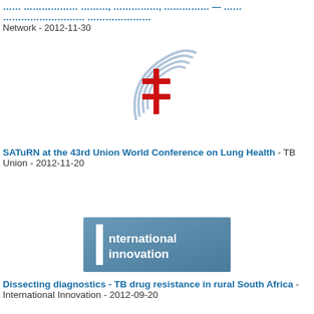Network - 2012-11-30
[Figure (logo): TB Union logo: concentric arc lines with a red double-barred cross (Cross of Lorraine) in the center]
SATuRN at the 43rd Union World Conference on Lung Health - TB Union - 2012-11-20
[Figure (logo): International Innovation logo: blue/grey rectangular banner with white text 'International innovation']
Dissecting diagnostics - TB drug resistance in rural South Africa - International Innovation - 2012-09-20